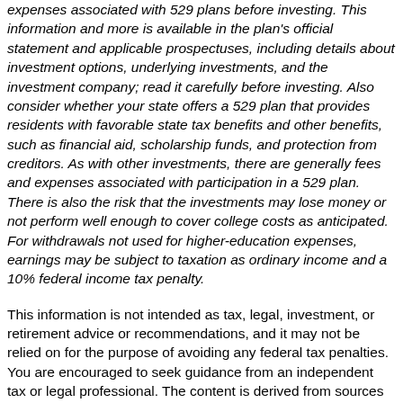expenses associated with 529 plans before investing. This information and more is available in the plan's official statement and applicable prospectuses, including details about investment options, underlying investments, and the investment company; read it carefully before investing. Also consider whether your state offers a 529 plan that provides residents with favorable state tax benefits and other benefits, such as financial aid, scholarship funds, and protection from creditors. As with other investments, there are generally fees and expenses associated with participation in a 529 plan. There is also the risk that the investments may lose money or not perform well enough to cover college costs as anticipated. For withdrawals not used for higher-education expenses, earnings may be subject to taxation as ordinary income and a 10% federal income tax penalty.
This information is not intended as tax, legal, investment, or retirement advice or recommendations, and it may not be relied on for the purpose of avoiding any federal tax penalties. You are encouraged to seek guidance from an independent tax or legal professional. The content is derived from sources believed to